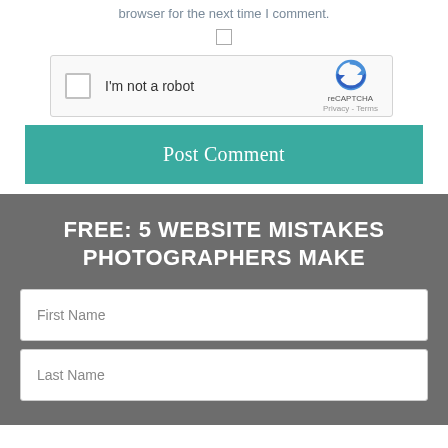browser for the next time I comment.
[Figure (screenshot): Small checkbox input element]
[Figure (screenshot): reCAPTCHA widget with checkbox and logo showing 'I'm not a robot', reCAPTCHA branding, Privacy and Terms links]
Post Comment
FREE: 5 WEBSITE MISTAKES PHOTOGRAPHERS MAKE
First Name
Last Name